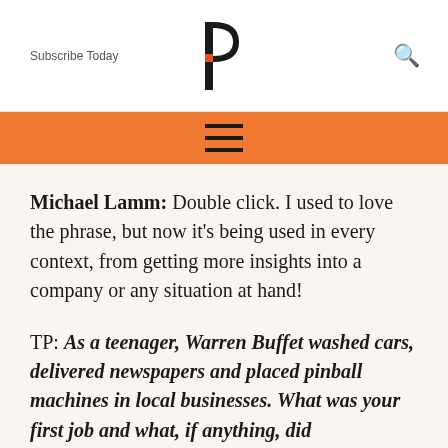Subscribe Today   [Logo: P]   [Search icon]
Michael Lamm: Double click. I used to love the phrase, but now it's being used in every context, from getting more insights into a company or any situation at hand!
TP: As a teenager, Warren Buffet washed cars, delivered newspapers and placed pinball machines in local businesses. What was your first job and what, if anything, did